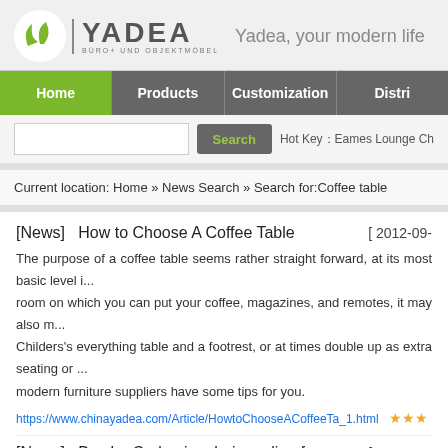[Figure (logo): Yadea logo with green leaf icon and company name, with tagline 'Yadea, your modern life']
Home | Products | Customization | Distri
Search  Hot Key:  Eames Lounge Ch
Current location: Home » News Search » Search for:Coffee table
[News]   How to Choose A Coffee Table   [ 2012-09-
The purpose of a coffee table seems rather straight forward, at its most basic level it is a table in the living room on which you can put your coffee, magazines, and remotes, it may also m... Childers's everything table and a footrest, or at times double up as extra seating or ... modern furniture suppliers have some tips for you.
https://www.chinayadea.com/Article/HowtoChooseACoffeeTa_1.html
[News]   Buy Le Corbusier chairs online from Yadea   [ 2012-09-
Buy Le Corbusier chairs online from Yadea, our copy Le Corbusier chairs include: t... and LC2, the beautiful LC4 Chaise Lounge, and Le Corbusier loveseat and sofa A...